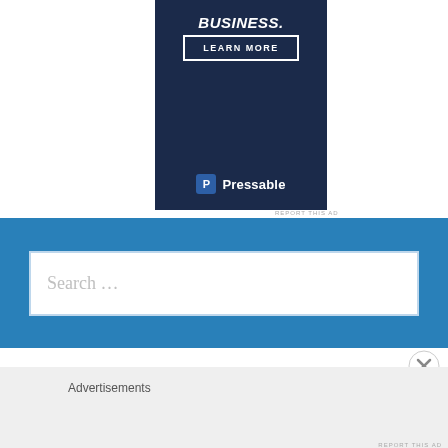[Figure (screenshot): Dark navy ad banner with bold italic text 'BUSINESS.' and a 'LEARN MORE' button outline, with Pressable logo at the bottom]
REPORT THIS AD
[Figure (screenshot): Blue search bar section with a wide white search input box containing placeholder text 'Search ...']
[Figure (other): Close/dismiss button (circle with X)]
Advertisements
REPORT THIS AD